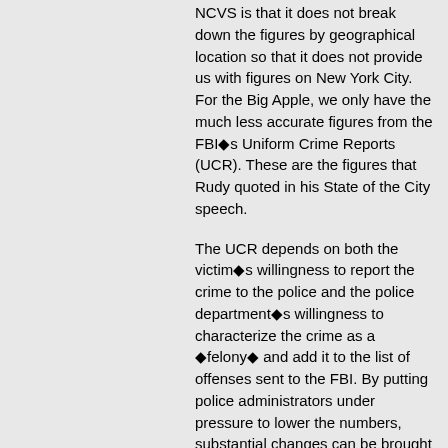NCVS is that it does not break down the figures by geographical location so that it does not provide us with figures on New York City. For the Big Apple, we only have the much less accurate figures from the FBI◆s Uniform Crime Reports (UCR). These are the figures that Rudy quoted in his State of the City speech.
The UCR depends on both the victim◆s willingness to report the crime to the police and the police department◆s willingness to characterize the crime as a ◆felony◆ and add it to the list of offenses sent to the FBI. By putting police administrators under pressure to lower the numbers, substantial changes can be brought about.
For example, about 65 percent of all felonies are ◆grand larcenies.◆ If a theft is reported to the police and the value of the thing stolen is less than $500, then the offense is a misdemeanor and will not be reported to the FBI. The police themselves are in the position of having to determine what the fai...